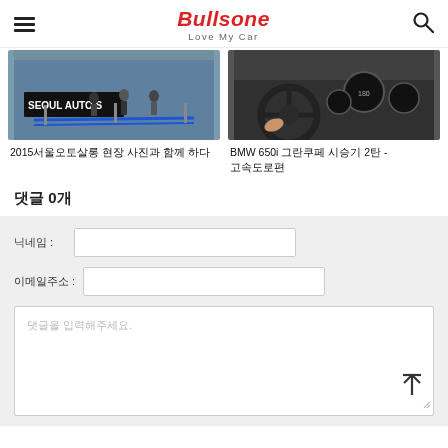Bullsone Love My Car
[Figure (photo): Photo of Seoul Auto Salon entrance with people standing in line behind blue rope barriers]
2015서울오토살롱 현장 사진과 함께 하다
[Figure (photo): Photo of BMW 650i interior showing steering wheel and dashboard gauges]
BMW 650i 그란쿠페 시승기 2탄 - 고속도로편
댓글 0개
닉네임 :
이메일주소 :
댓글을 입력해주세요.